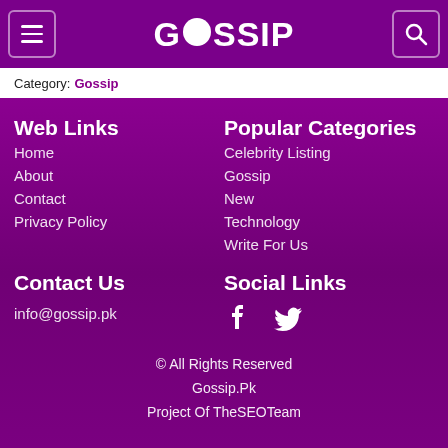GOSSIP (logo with hamburger menu and search icon)
Category: Gossip
Web Links
Home
About
Contact
Privacy Policy
Popular Categories
Celebrity Listing
Gossip
New
Technology
Write For Us
Contact Us
info@gossip.pk
Social Links
[Figure (illustration): Facebook and Twitter social media icons in white]
© All Rights Reserved
Gossip.Pk
Project Of TheSEOTeam